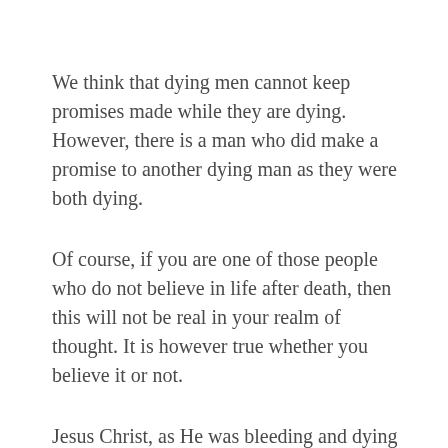We think that dying men cannot keep promises made while they are dying. However, there is a man who did make a promise to another dying man as they were both dying.
Of course, if you are one of those people who do not believe in life after death, then this will not be real in your realm of thought. It is however true whether you believe it or not.
Jesus Christ, as He was bleeding and dying next to the man on His right and the one on His left is the One who made the promise; and it is certain that He fulfilled that promise to the